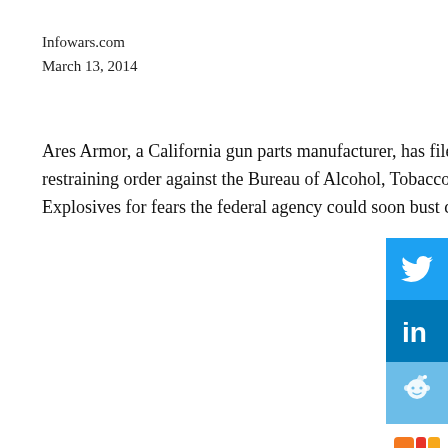Infowars.com
March 13, 2014
Ares Armor, a California gun parts manufacturer, has filed a temporary restraining order against the Bureau of Alcohol, Tobacco, Firearms and Explosives for fears the federal agency could soon bust down its doors.
[Figure (infographic): Social media share buttons sidebar: Twitter (blue), LinkedIn (dark blue), Reddit (light blue), Mixx (orange/red), and a 'more' arrow button]